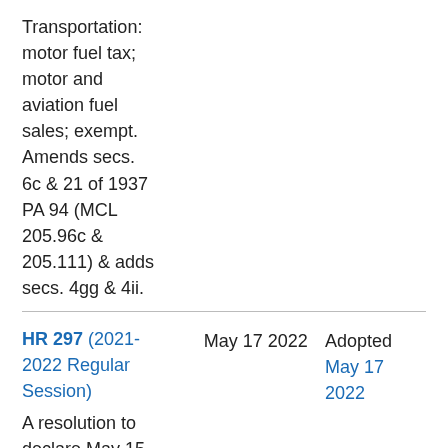Transportation: motor fuel tax; motor and aviation fuel sales; exempt. Amends secs. 6c & 21 of 1937 PA 94 (MCL 205.96c & 205.111) & adds secs. 4gg & 4ii.
HR 297 (2021-2022 Regular Session)
May 17 2022
Adopted May 17 2022
A resolution to declare May 15-21, 2022, as Police Week in